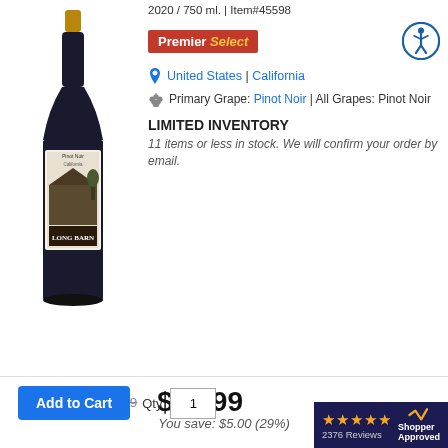2020 / 750 ml. | Item#45598
[Figure (photo): Wine bottle with Long Barn Pinot Noir label showing a barn image]
Premier Select
United States | California
Primary Grape: Pinot Noir | All Grapes: Pinot Noir
LIMITED INVENTORY
11 items or less in stock. We will confirm your order by email.
Compare at: $16.99
$11.99
You save: $5.00 (29%)
Add to Cart  Qty  1
2376 Reviews  Shopper Approved